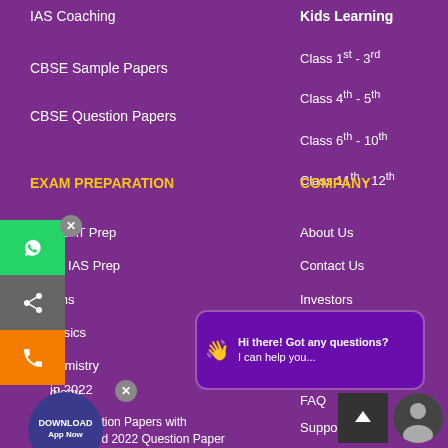IAS Coaching
CBSE Sample Papers
CBSE Question Papers
Kids Learning
Class 1st - 3rd
Class 4th - 5th
Class 6th - 10th
Class 11th - 12th
EXAM PREPARATION
COMPANY
Free CAT Prep
Free IAS Prep
Maths
Physics
Chemistry
Biology
JEE Main 2022
JEE Main 2022 Question Papers with Answers
JEE Advanced 2022 Question Paper
About Us
Contact Us
Investors
Careers
BYJU'S APP
FAQ
Support